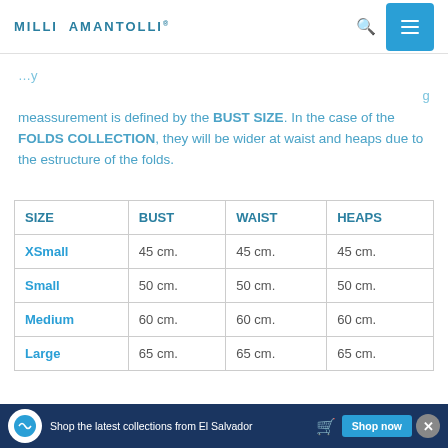MILLI AMANTOLLI®
meassurement is defined by the BUST SIZE. In the case of the FOLDS COLLECTION, they will be wider at waist and heaps due to the estructure of the folds.
| SIZE | BUST | WAIST | HEAPS |
| --- | --- | --- | --- |
| XSmall | 45 cm. | 45 cm. | 45 cm. |
| Small | 50 cm. | 50 cm. | 50 cm. |
| Medium | 60 cm. | 60 cm. | 60 cm. |
| Large | 65 cm. | 65 cm. | 65 cm. |
Shop the latest collections from El Salvador  Shop now